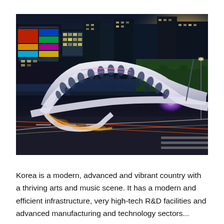[Figure (photo): Aerial night view of a modern city in Korea featuring a distinctive white architectural bridge with oval cutouts spanning a river, colorful LED-lit buildings in the background, a glowing fountain in the river, and busy traffic with light trails. The scene is vibrant with neon lights and urban activity.]
Korea is a modern, advanced and vibrant country with a thriving arts and music scene. It has a modern and efficient infrastructure, very high-tech R&D facilities and advanced manufacturing and technology sectors...